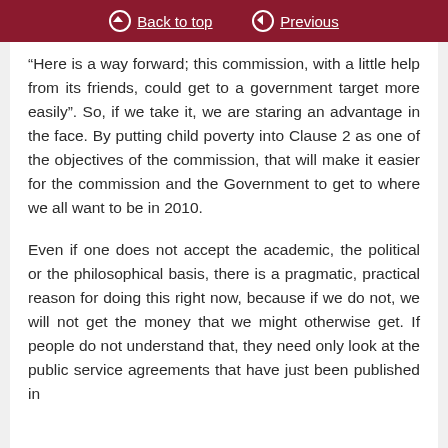Back to top  Previous
“Here is a way forward; this commission, with a little help from its friends, could get to a government target more easily”. So, if we take it, we are staring an advantage in the face. By putting child poverty into Clause 2 as one of the objectives of the commission, that will make it easier for the commission and the Government to get to where we all want to be in 2010.
Even if one does not accept the academic, the political or the philosophical basis, there is a pragmatic, practical reason for doing this right now, because if we do not, we will not get the money that we might otherwise get. If people do not understand that, they need only look at the public service agreements that have just been published in